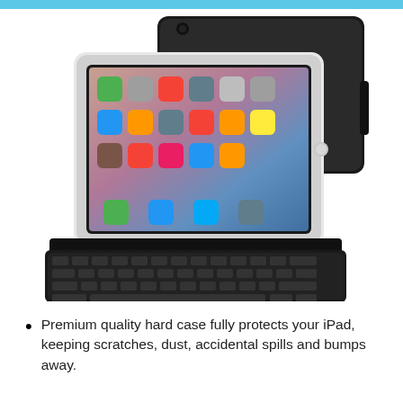[Figure (photo): Product photo showing an iPad Pro in a black keyboard case. The front shows the iPad screen displaying iOS app icons. Behind it is the black hard back cover. Below the iPad is a detached black Bluetooth keyboard. The case and keyboard are both matte black.]
Premium quality hard case fully protects your iPad, keeping scratches, dust, accidental spills and bumps away.